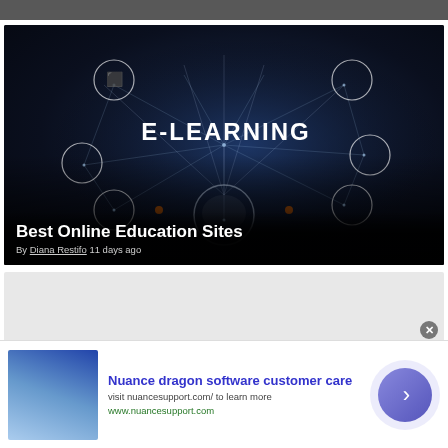[Figure (photo): Dark top strip remnant of previous image]
[Figure (photo): E-Learning concept image with dark background, geometric network lines, circular icons (video, education, chart, search, AI brain), open book at center with light rays, and text E-LEARNING in white letters]
Best Online Education Sites
By Diana Restifo 11 days ago
[Figure (other): Gray advertisement placeholder box]
[Figure (screenshot): Advertisement banner: Nuance dragon software customer care. Image of hand touching screen on left. Blue circular arrow button on right.]
Nuance dragon software customer care
visit nuancesupport.com/ to learn more
www.nuancesupport.com